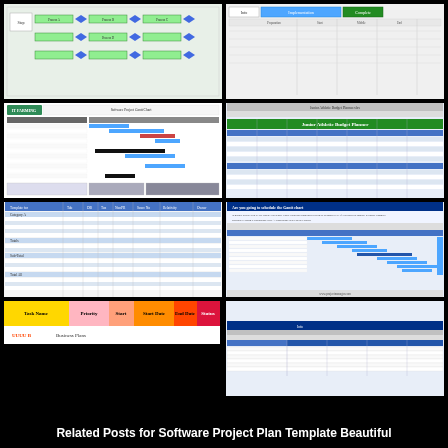[Figure (screenshot): Process flow / arrow diagram with green boxes and blue diamond connectors showing software workflow]
[Figure (screenshot): Gantt chart with blue header bar and timeline labeled 'Implementation']
[Figure (screenshot): Software project Gantt chart with IT Farming logo, multiple rows with colored bars including red and black bars]
[Figure (screenshot): Budget planner spreadsheet labeled 'Junior Athletic Budget Planner' with green header and blue/green alternating rows]
[Figure (screenshot): Project tracking spreadsheet with columns: Template for, Tab, DB, Tax, NonPR, Score No, Relativity, Owner]
[Figure (screenshot): Software project Gantt chart screenshot with blue Windows-style interface showing diagonal Gantt bars]
[Figure (screenshot): Task bar row with yellow, pink, peach, orange, red cells and 'Task Name', 'Priority', 'Start', 'Start Date', 'End Date', 'Status' labels, with 'UUUU B Business Plans' subtitle]
[Figure (screenshot): Blue Windows-style software screenshot with toolbar and spreadsheet/Gantt view]
Related Posts for Software Project Plan Template Beautiful